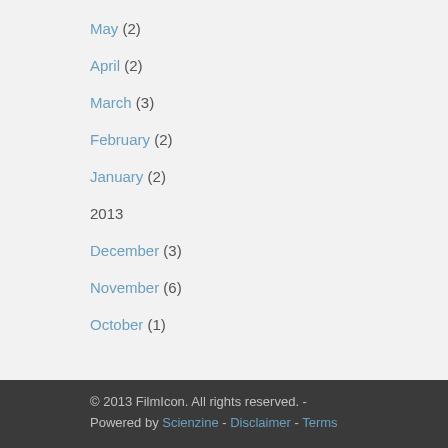May (2)
April (2)
March (3)
February (2)
January (2)
2013
December (3)
November (6)
October (1)
© 2013 FilmIcon. All rights reserved.  -  Powered by Scienzine  -  Disclaimer - Terms